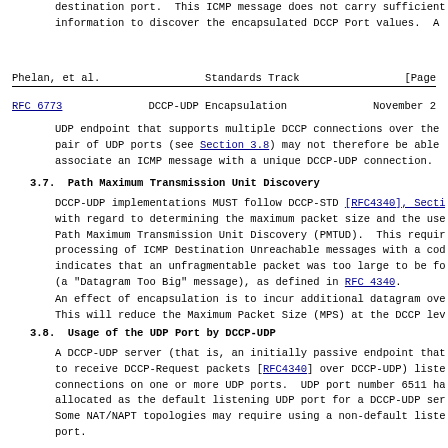destination port.  This ICMP message does not carry sufficient
information to discover the encapsulated DCCP Port values.  A DCCP
Phelan, et al.                Standards Track                    [Page
RFC 6773              DCCP-UDP Encapsulation           November 2
UDP endpoint that supports multiple DCCP connections over the same
pair of UDP ports (see Section 3.8) may not therefore be able to
associate an ICMP message with a unique DCCP-UDP connection.
3.7.  Path Maximum Transmission Unit Discovery
DCCP-UDP implementations MUST follow DCCP-STD [RFC4340], Section 1
with regard to determining the maximum packet size and the use of
Path Maximum Transmission Unit Discovery (PMTUD).  This requires t
processing of ICMP Destination Unreachable messages with a code th
indicates that an unfragmentable packet was too large to be forwar
(a "Datagram Too Big" message), as defined in RFC 4340.
An effect of encapsulation is to incur additional datagram overhea
This will reduce the Maximum Packet Size (MPS) at the DCCP level.
3.8.  Usage of the UDP Port by DCCP-UDP
A DCCP-UDP server (that is, an initially passive endpoint that wis
to receive DCCP-Request packets [RFC4340] over DCCP-UDP) listens f
connections on one or more UDP ports.  UDP port number 6511 has be
allocated as the default listening UDP port for a DCCP-UDP server.
Some NAT/NAPT topologies may require using a non-default listening
port.